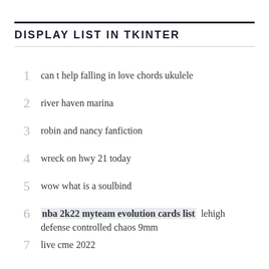DISPLAY LIST IN TKINTER
can t help falling in love chords ukulele
river haven marina
robin and nancy fanfiction
wreck on hwy 21 today
wow what is a soulbind
nba 2k22 myteam evolution cards list  lehigh defense controlled chaos 9mm
live cme 2022